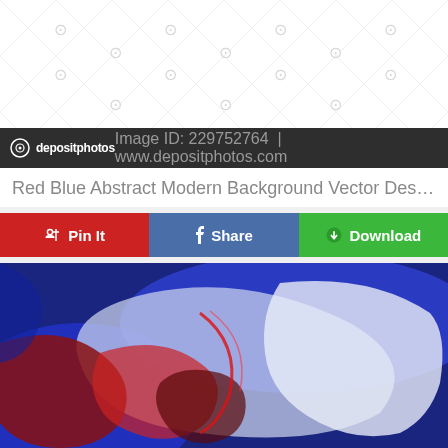[Figure (illustration): Watermarked stock image placeholder with depositphotos watermark pattern on white background]
depositphotos | Image ID: 229752764 | www.depositphotos.com
Red Blue Abstract Modern Background Vector Design ...
Pin It | Share | Download
[Figure (photo): Red blue abstract modern background — fluid art with swirling patterns of red, blue, white and dark colors resembling marble or acrylic pour painting]